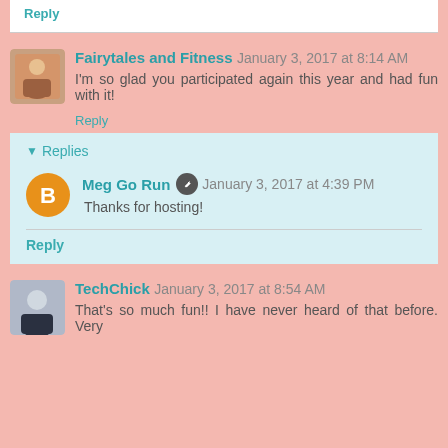Reply
Fairytales and Fitness  January 3, 2017 at 8:14 AM
I'm so glad you participated again this year and had fun with it!
Reply
Replies
Meg Go Run  January 3, 2017 at 4:39 PM
Thanks for hosting!
Reply
TechChick  January 3, 2017 at 8:54 AM
That's so much fun!! I have never heard of that before. Very